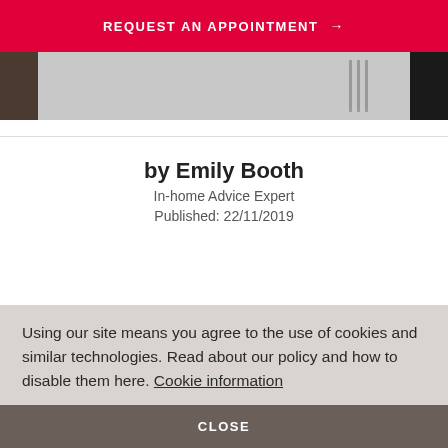REQUEST AN APPOINTMENT →
[Figure (photo): Partial view of a room interior with dark tones on left and right edges, gray center with vertical bar elements]
by Emily Booth
In-home Advice Expert
Published: 22/11/2019
Using our site means you agree to the use of cookies and similar technologies. Read about our policy and how to disable them here. Cookie information
CLOSE